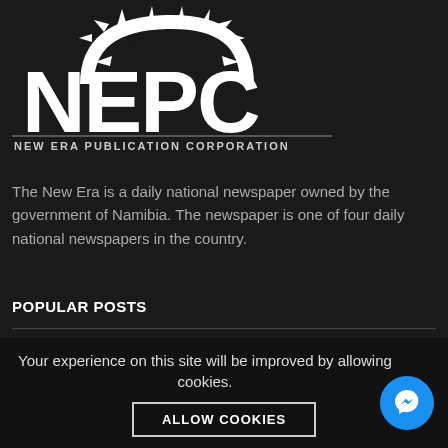[Figure (logo): NEPC - New Era Publication Corporation logo with sun/sunrise graphic above large white NEPC lettering on dark background]
The New Era is a daily national newspaper owned by the government of Namibia. The newspaper is one of four daily national newspapers in the country.
POPULAR POSTS
Murder accused siblings get trial judge
Swapo 'Iron Lady' combat-ready
Shikongo's meteoric rise
Your experience on this site will be improved by allowing cookies.
ALLOW COOKIES